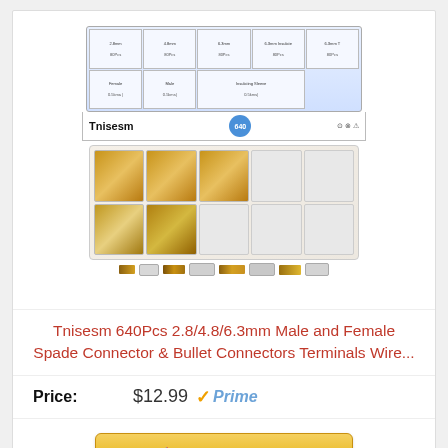[Figure (photo): Product photo of Tnisesm 640Pcs 2.8/4.8/6.3mm Male and Female Spade Connector & Bullet Connectors Terminals Wire kit, showing the product box, organizer tray with gold and clear connectors, and individual connector samples below.]
Tnisesm 640Pcs 2.8/4.8/6.3mm Male and Female Spade Connector & Bullet Connectors Terminals Wire...
Price: $12.99 Prime
Buy on Amazon
Bestseller No. 8